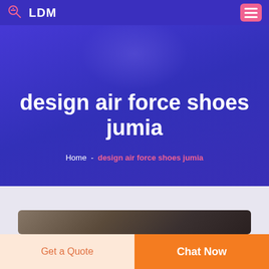LDM
design air force shoes jumia
Home  -  design air force shoes jumia
[Figure (logo): DEEKON logo with circular icon and red bold text]
Get a Quote
Chat Now